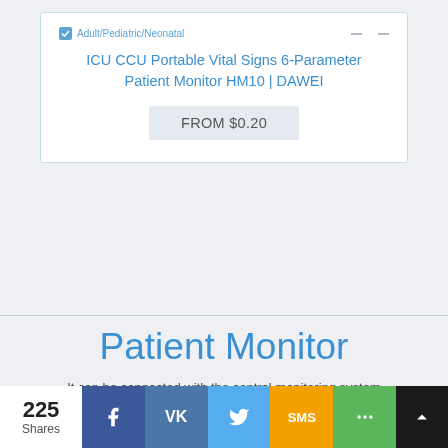[Figure (screenshot): Product card for ICU CCU Portable Vital Signs 6-Parameter Patient Monitor HM10 by DAWEI, showing a checkbox labeled Adult/Pediatric/Neonatal, two minus/collapse icons, the product title in blue, and a price box showing FROM $0.20]
Patient Monitor
It can be connected with the central monitoring system through wired and wireless ways to carry out remo...
225 Shares | Facebook | VK | Twitter | SMS | More | Scroll to top